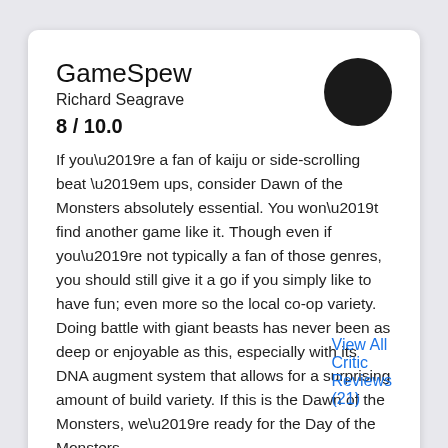GameSpew
Richard Seagrave
8 / 10.0
If you’re a fan of kaiju or side-scrolling beat ’em ups, consider Dawn of the Monsters absolutely essential. You won’t find another game like it. Though even if you’re not typically a fan of those genres, you should still give it a go if you simply like to have fun; even more so the local co-op variety. Doing battle with giant beasts has never been as deep or enjoyable as this, especially with its DNA augment system that allows for a surprising amount of build variety. If this is the Dawn of the Monsters, we’re ready for the Day of the Monsters.
Read full review
View All Critic Reviews (21)